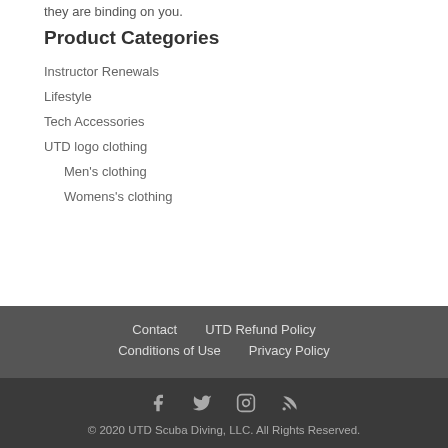they are binding on you.
Product Categories
Instructor Renewals
Lifestyle
Tech Accessories
UTD logo clothing
Men's clothing
Womens's clothing
Contact   UTD Refund Policy   Conditions of Use   Privacy Policy   © 2020 UTD Scuba Diving, LLC. All Rights Reserved.